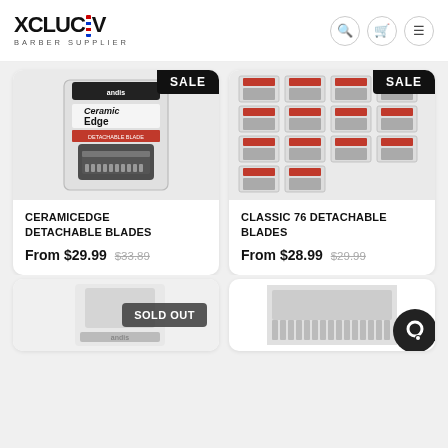XCLUCIV BARBER SUPPLIER
[Figure (photo): Andis CeramicEdge Detachable Blades product in packaging]
CERAMICEDGE DETACHABLE BLADES
From $29.99  $33.89
[Figure (photo): Classic 76 Detachable Blades - multiple blade packages shown in grid]
CLASSIC 76 DETACHABLE BLADES
From $28.99  $29.99
[Figure (photo): Andis product - SOLD OUT]
[Figure (photo): Clipper blade comb attachment product]